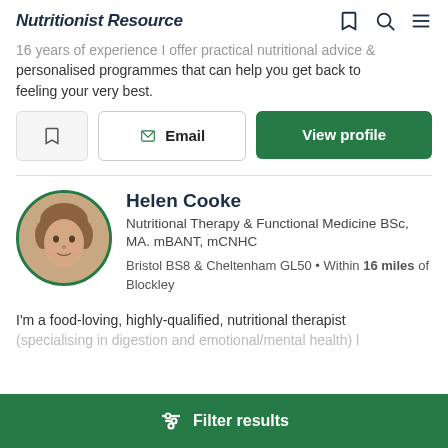Nutritionist Resource
16 years of experience I offer practical nutritional advice & personalised programmes that can help you get back to feeling your very best.
Email | View profile
Helen Cooke
Nutritional Therapy & Functional Medicine BSc, MA. mBANT, mCNHC
Bristol BS8 & Cheltenham GL50 • Within 16 miles of Blockley
I'm a food-loving, highly-qualified, nutritional therapist (specialising in digestion and emotional/mental health)...
Filter results